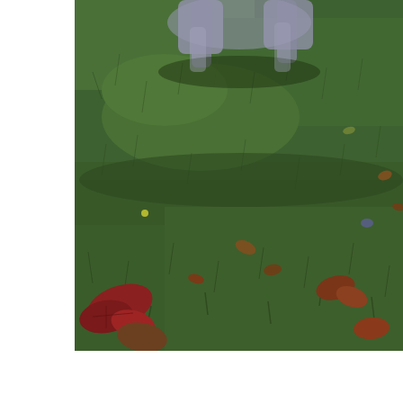[Figure (photo): A blurry outdoor photograph showing a grassy lawn with scattered fallen autumn leaves in brown and red tones. At the top of the image, the blurred lower body and legs of a grey/blue-grey dog are partially visible, appearing to be in motion. The grass is dark green and the scene appears to be taken in autumn.]